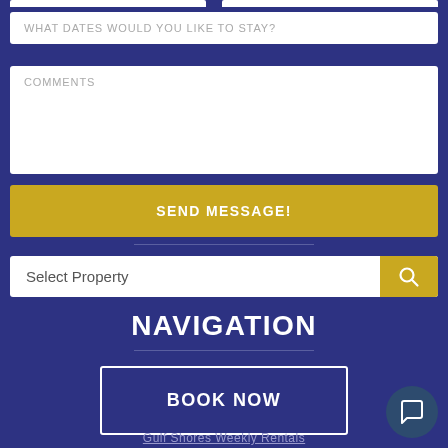WHAT DATES WOULD YOU LIKE TO STAY?
COMMENTS
SEND MESSAGE!
Select Property
NAVIGATION
BOOK NOW
Gulf Shores Weekly Rentals